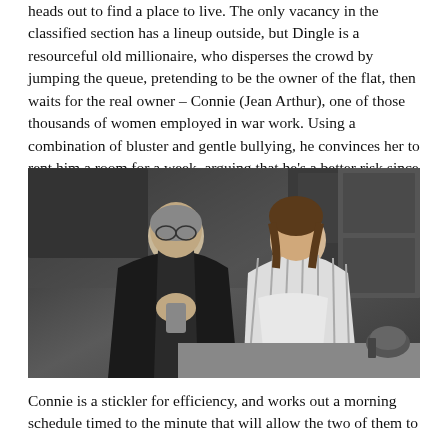heads out to find a place to live. The only vacancy in the classified section has a lineup outside, but Dingle is a resourceful old millionaire, who disperses the crowd by jumping the queue, pretending to be the owner of the flat, then waits for the real owner – Connie (Jean Arthur), one of those thousands of women employed in war work. Using a combination of bluster and gentle bullying, he convinces her to rent him a room for a week, arguing that he's a better risk since any woman she'd rent to would only borrow her clothes and ruin them.
[Figure (photo): Black and white film still showing an older man in a dark robe holding something in his hands and a younger woman in a striped shirt looking at him, both standing in what appears to be a kitchen setting.]
Connie is a stickler for efficiency, and works out a morning schedule timed to the minute that will allow the two of them to